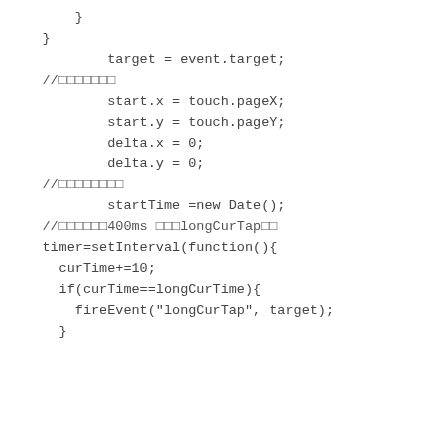Code snippet showing JavaScript touch event handler with comments in Japanese characters and timer/interval logic